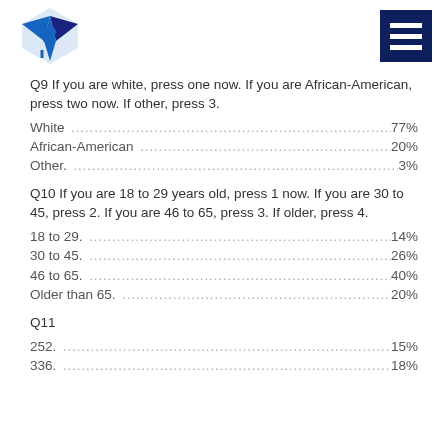Logo and menu icon header
Q9 If you are white, press one now. If you are African-American, press two now. If other, press 3.
White ... 77%
African-American ... 20%
Other... 3%
Q10 If you are 18 to 29 years old, press 1 now. If you are 30 to 45, press 2. If you are 46 to 65, press 3. If older, press 4.
18 to 29... 14%
30 to 45... 26%
46 to 65... 40%
Older than 65... 20%
Q11
252... 15%
336... 18%